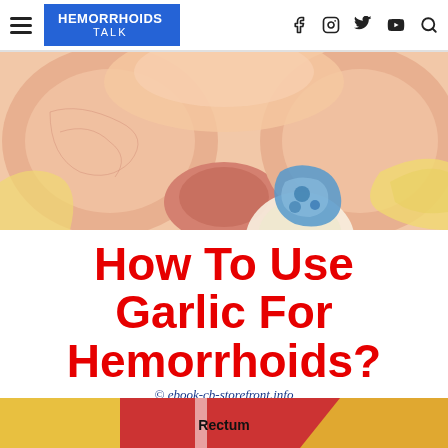HEMORRHOIDS TALK
[Figure (illustration): Medical anatomical illustration of hemorrhoids showing cross-section of rectal tissue with swollen hemorrhoidal tissue in pink and red tones, with blue vascular structures visible]
How To Use Garlic For Hemorrhoids?
© ebook-cb-storefront.info
[Figure (illustration): Bottom portion of medical anatomical diagram showing rectum label, with red and yellow/gold colored tissue layers]